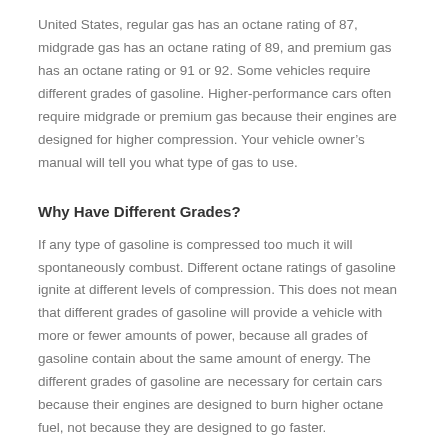United States, regular gas has an octane rating of 87, midgrade gas has an octane rating of 89, and premium gas has an octane rating or 91 or 92. Some vehicles require different grades of gasoline. Higher-performance cars often require midgrade or premium gas because their engines are designed for higher compression. Your vehicle owner's manual will tell you what type of gas to use.
Why Have Different Grades?
If any type of gasoline is compressed too much it will spontaneously combust. Different octane ratings of gasoline ignite at different levels of compression. This does not mean that different grades of gasoline will provide a vehicle with more or fewer amounts of power, because all grades of gasoline contain about the same amount of energy. The different grades of gasoline are necessary for certain cars because their engines are designed to burn higher octane fuel, not because they are designed to go faster.